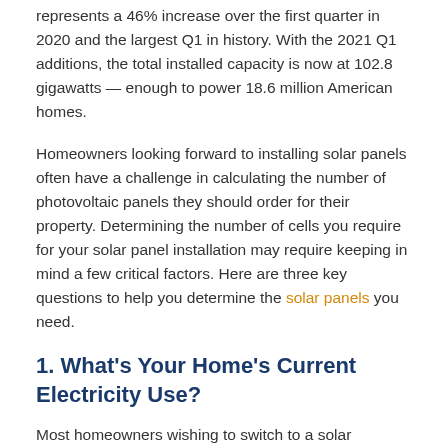represents a 46% increase over the first quarter in 2020 and the largest Q1 in history. With the 2021 Q1 additions, the total installed capacity is now at 102.8 gigawatts — enough to power 18.6 million American homes.
Homeowners looking forward to installing solar panels often have a challenge in calculating the number of photovoltaic panels they should order for their property. Determining the number of cells you require for your solar panel installation may require keeping in mind a few critical factors. Here are three key questions to help you determine the solar panels you need.
1. What's Your Home's Current Electricity Use?
Most homeowners wishing to switch to a solar